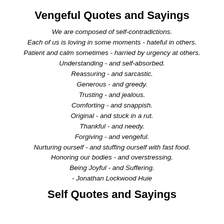Vengeful Quotes and Sayings
We are composed of self-contradictions.
Each of us is loving in some moments - hateful in others.
Patient and calm sometimes - harried by urgency at others.
Understanding - and self-absorbed.
Reassuring - and sarcastic.
Generous - and greedy.
Trusting - and jealous.
Comforting - and snappish.
Original - and stuck in a rut.
Thankful - and needy.
Forgiving - and vengeful.
Nurturing ourself - and stuffing ourself with fast food.
Honoring our bodies - and overstressing.
Being Joyful - and Suffering.
- Jonathan Lockwood Huie
Self Quotes and Sayings